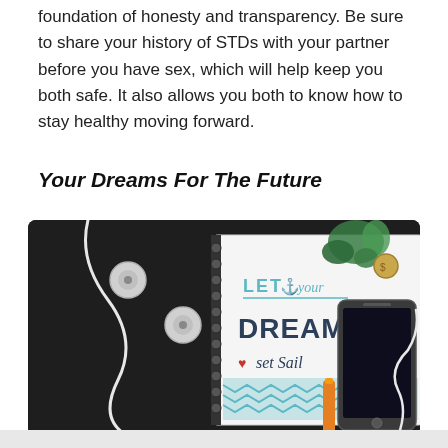foundation of honesty and transparency. Be sure to share your history of STDs with your partner before you have sex, which will help keep you both safe. It also allows you both to know how to stay healthy moving forward.
Your Dreams For The Future
[Figure (photo): A dark desk surface with a spiral-bound notebook reading 'LET your DREAMS set Sail', white earbuds, a small succulent plant, a gold coin, an orange marker, and a smartphone with white earphone cable.]